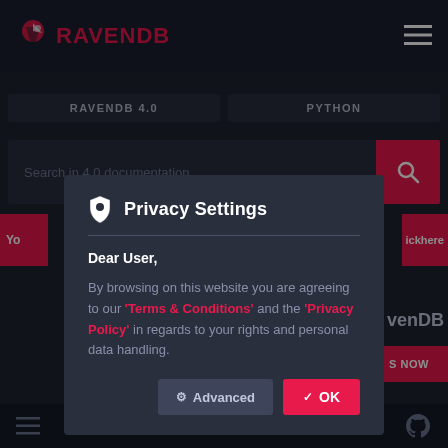[Figure (screenshot): RavenDB documentation website background with dark navy theme, logo, navigation tabs for RAVENDB 4.0 and PYTHON, search bar, and partial content]
Privacy Settings
Dear User,
By browsing on this website you are agreeing to our 'Terms & Conditions' and the 'Privacy Policy' in regards to your rights and personal data handling.
Advanced
OK